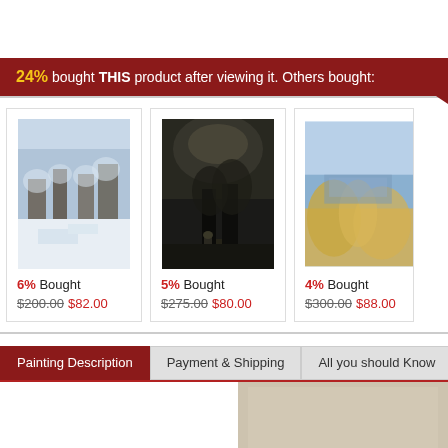24% bought THIS product after viewing it. Others bought:
[Figure (photo): Snow scene painting - winter forest with snow-covered trees]
6% Bought $200.00 $82.00
[Figure (photo): Dark landscape painting - figure in stormy field with dramatic clouds]
5% Bought $275.00 $80.00
[Figure (photo): Colorful landscape painting - trees and water with mountains]
4% Bought $300.00 $88.00
Painting Description
Payment & Shipping
All you should Know
[Figure (photo): Partial view of a canvas texture or painting detail]